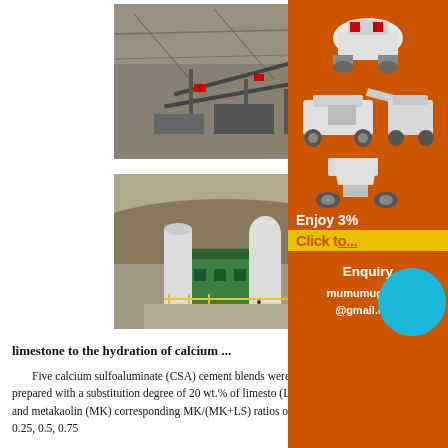[Figure (photo): Aerial/ground view of a mining or quarrying operation with conveyor belts and rock face]
[Figure (photo): Industrial facility with silos and green-painted structures in a rocky landscape]
[Figure (photo): Advertisement sidebar with orange background showing mining/crushing machinery, Enjoy 3% text, Click to link, Enquiry, mumumugoods@gmail.com]
limestone to the hydration of calcium ...
Five calcium sulfoaluminate (CSA) cement blends were prepared with a substitution degree of 20 wt.% of limestone (LS) and metakaolin (MK) corresponding MK/(MK+LS) ratios of 0, 0.25, 0.5, 0.75